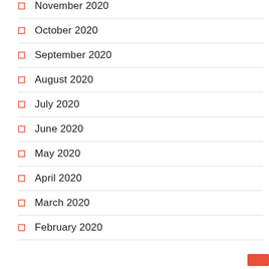November 2020
October 2020
September 2020
August 2020
July 2020
June 2020
May 2020
April 2020
March 2020
February 2020